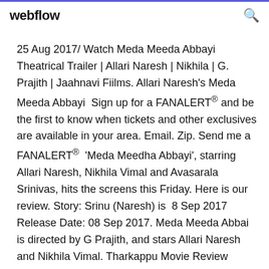webflow
25 Aug 2017/ Watch Meda Meeda Abbayi Theatrical Trailer | Allari Naresh | Nikhila | G. Prajith | Jaahnavi Fiilms. Allari Naresh's Meda Meeda Abbayi  Sign up for a FANALERT® and be the first to know when tickets and other exclusives are available in your area. Email. Zip. Send me a FANALERT®  'Meda Meedha Abbayi', starring Allari Naresh, Nikhila Vimal and Avasarala Srinivas, hits the screens this Friday. Here is our review. Story: Srinu (Naresh) is  8 Sep 2017 Release Date: 08 Sep 2017. Meda Meeda Abbai is directed by G Prajith, and stars Allari Naresh and Nikhila Vimal. Tharkappu Movie Review Dhilluku Dhuddu 2 Full Movie In Tamil HD Download Download dhilluku dhuddu